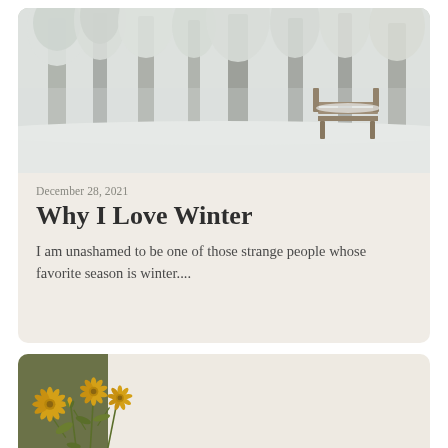[Figure (photo): Snowy winter park scene with snow-covered trees and a park bench]
December 28, 2021
Why I Love Winter
I am unashamed to be one of those strange people whose favorite season is winter....
[Figure (illustration): Botanical illustration of yellow flowers (dandelion-like) against an olive green and beige background]